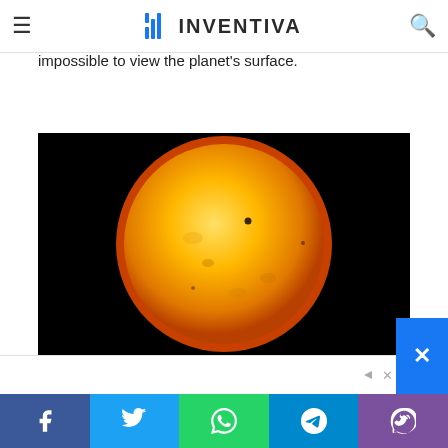INVENTIVA
resolution synthetic aperture radar to examine the surface which is covered by dense clouds that make it impossible to view the planet's surface.
[Figure (photo): A large orange-yellow sun against a black background with a small dark circular dot (likely Venus or Mercury) visible on the upper-left portion of the solar disk.]
Share buttons: Facebook, Twitter, WhatsApp, Telegram, Viber